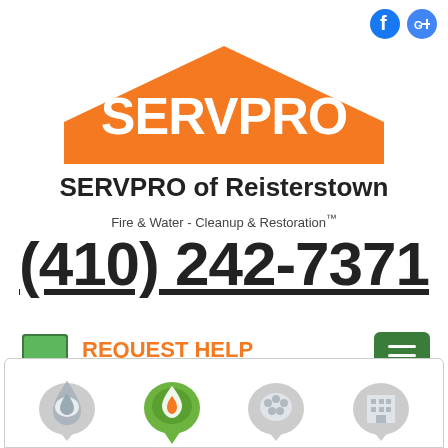[Figure (logo): Facebook and Google Maps social media icons in top right corner]
[Figure (logo): SERVPRO orange house logo with white SERVPRO text]
SERVPRO of Reisterstown
Fire & Water - Cleanup & Restoration™
(410) 242-7371
[Figure (infographic): REQUEST HELP ONLINE button with computer monitor icon]
[Figure (infographic): Green hamburger menu button]
[Figure (infographic): Bottom service icons: water drop, fire/flame, mold, building icons in map pin style]